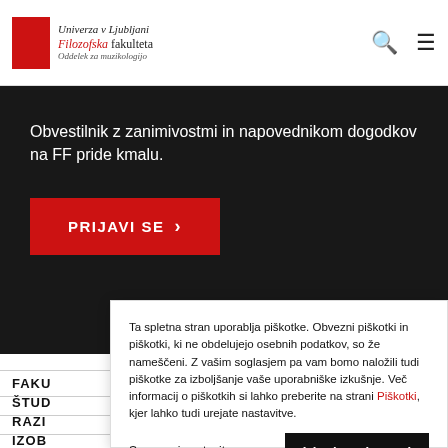Univerza v Ljubljani Filozofska fakulteta Oddelek za muzikologijo
Obvestilnik z zanimivostmi in napovednikom dogodkov na FF pride kmalu.
PRIJAVI SE >
FAKU
ŠTUD
RAZI
IZOB
KNJI
Ta spletna stran uporablja piškotke. Obvezni piškotki in piškotki, ki ne obdelujejo osebnih podatkov, so že nameščeni. Z vašim soglasjem pa vam bomo naložili tudi piškotke za izboljšanje vaše uporabniške izkušnje. Več informacij o piškotkih si lahko preberite na strani Piškotki, kjer lahko tudi urejate nastavitve.
Spremeni nastavitve
Izberi vse in zapri